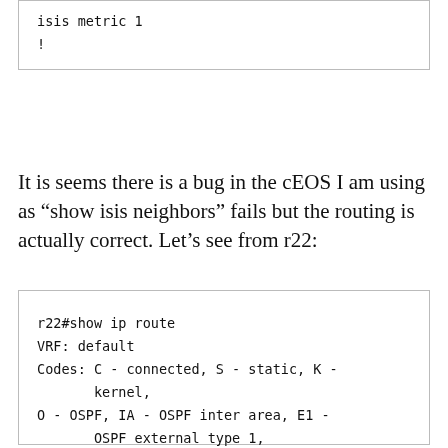isis metric 1
!
It is seems there is a bug in the cEOS I am using as “show isis neighbors” fails but the routing is actually correct. Let’s see from r22:
r22#show ip route
VRF: default
Codes: C - connected, S - static, K - kernel,
O - OSPF, IA - OSPF inter area, E1 - OSPF external type 1,
E2 - OSPF external type 2, N1 - OSPF NSSA external type 1,
N2 - OSPF NSSA external type2, B - BGP,
B I - iBGP, B E - eBGP,